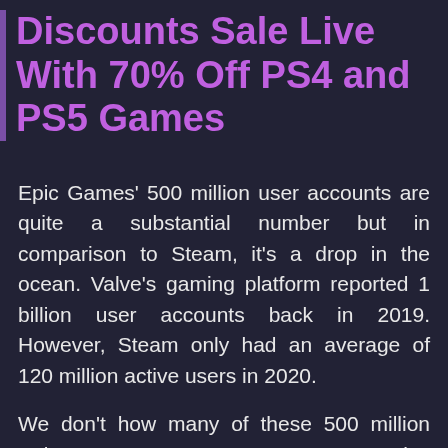Discounts Sale Live With 70% Off PS4 and PS5 Games
Epic Games' 500 million user accounts are quite a substantial number but in comparison to Steam, it's a drop in the ocean. Valve's gaming platform reported 1 billion user accounts back in 2019. However, Steam only had an average of 120 million active users in 2020.
We don't how many of these 500 million Epic Games Store accounts are "active users". Epic doesn't want to share the specifics at the moment. If Epic Games keeps doing what they are doing they could surpass the 1 billion